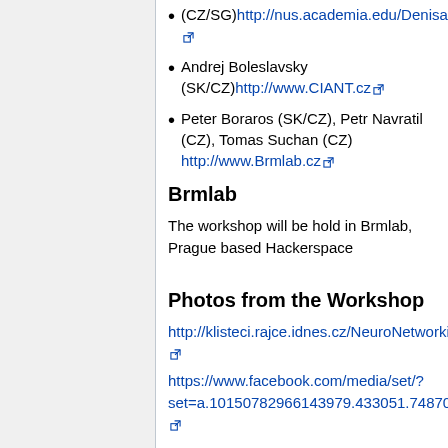(CZ/SG) http://nus.academia.edu/DenisaKera
Andrej Boleslavsky (SK/CZ) http://www.CIANT.cz
Peter Boraros (SK/CZ), Petr Navratil (CZ), Tomas Suchan (CZ) http://www.Brmlab.cz
Brmlab
The workshop will be hold in Brmlab, Prague based Hackerspace
Photos from the Workshop
http://klisteci.rajce.idnes.cz/NeuroNetworking_workshop/
https://www.facebook.com/media/set/?set=a.10150782966143979.433051.748703978&type=1